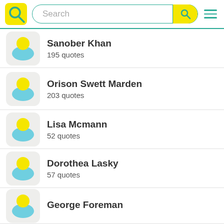Search bar with logo and hamburger menu
Sanober Khan — 195 quotes
Orison Swett Marden — 203 quotes
Lisa Mcmann — 52 quotes
Dorothea Lasky — 57 quotes
George Foreman